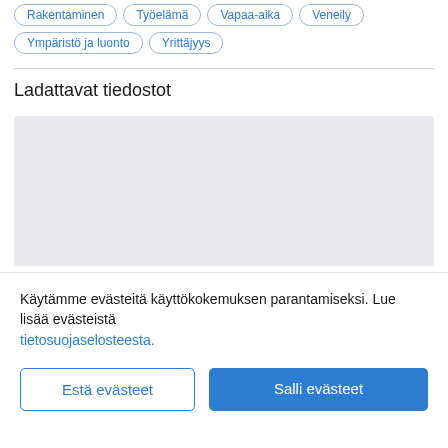Rakentaminen
Työelämä
Vapaa-aika
Veneily
Ympäristö ja luonto
Yrittäjyys
Ladattavat tiedostot
[Figure (other): Empty light gray file download area placeholder box]
Käytämme evästeitä käyttökokemuksen parantamiseksi. Lue lisää evästeistä tietosuojaselosteesta.
Estä evästeet
Salli evästeet